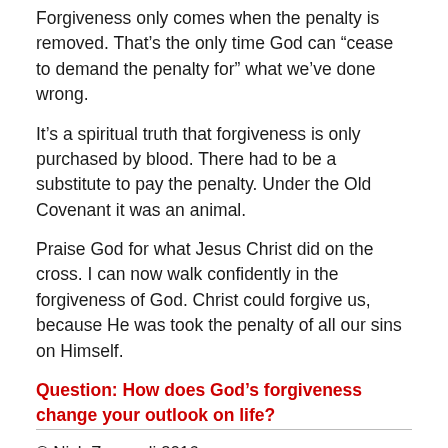Forgiveness only comes when the penalty is removed. That’s the only time God can “cease to demand the penalty for” what we’ve done wrong.
It’s a spiritual truth that forgiveness is only purchased by blood. There had to be a substitute to pay the penalty. Under the Old Covenant it was an animal.
Praise God for what Jesus Christ did on the cross. I can now walk confidently in the forgiveness of God. Christ could forgive us, because He was took the penalty of all our sins on Himself.
Question: How does God’s forgiveness change your outlook on life?
© Nick Zaccardi 2016